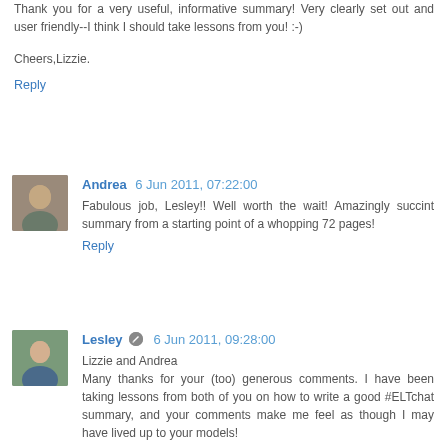Thank you for a very useful, informative summary! Very clearly set out and user friendly--I think I should take lessons from you! :-)
Cheers,Lizzie.
Reply
Andrea  6 Jun 2011, 07:22:00
Fabulous job, Lesley!! Well worth the wait! Amazingly succint summary from a starting point of a whopping 72 pages!
Reply
Lesley  6 Jun 2011, 09:28:00
Lizzie and Andrea
Many thanks for your (too) generous comments. I have been taking lessons from both of you on how to write a good #ELTchat summary, and your comments make me feel as though I may have lived up to your models!